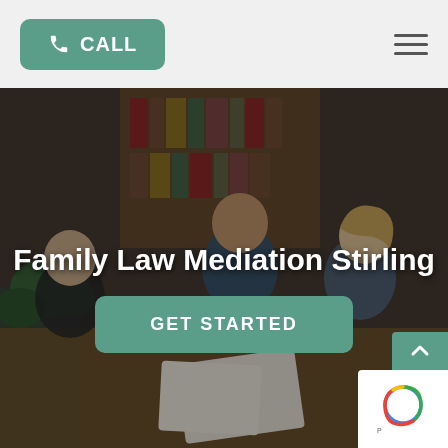CALL (button) | hamburger menu
Family Law Mediation Stirling
[Figure (photo): Three people (two men and a woman) sitting at a table reviewing documents together in an office setting with bookshelves in the background, with a dark overlay]
GET STARTED